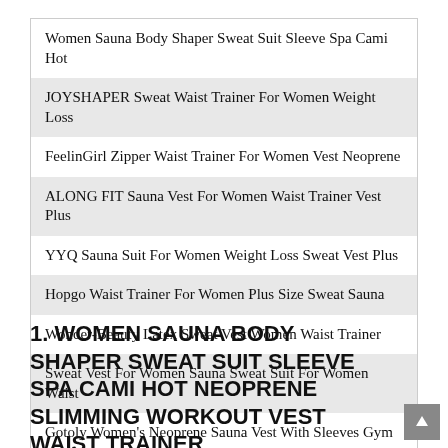Women Sauna Body Shaper Sweat Suit Sleeve Spa Cami Hot
JOYSHAPER Sweat Waist Trainer For Women Weight Loss
FeelinGirl Zipper Waist Trainer For Women Vest Neoprene
ALONG FIT Sauna Vest For Women Waist Trainer Vest Plus
YYQ Sauna Suit For Women Weight Loss Sweat Vest Plus
Hopgo Waist Trainer For Women Plus Size Sweat Sauna
Wonder-Beauty Latex Sweat Vest Women Waist Trainer
Sweat Vest For Women Sauna Sweat Suit For Women Waist
Gotoly Women's Neoprene Sauna Vest With Sleeves Gym
YIANNA Sweat Sauna Suit For Women Neoprene Waist
1. WOMEN SAUNA BODY SHAPER SWEAT SUIT SLEEVE SPA CAMI HOT NEOPRENE SLIMMING WORKOUT VEST WAIST TRAINER